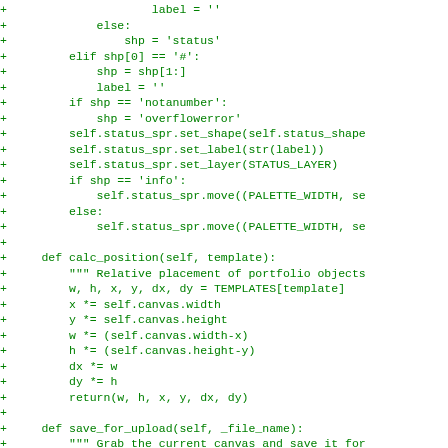[Figure (screenshot): Code diff showing Python source code additions (lines prefixed with '+') in green monospace font on white background. Shows methods including calc_position and save_for_upload with Python code logic.]